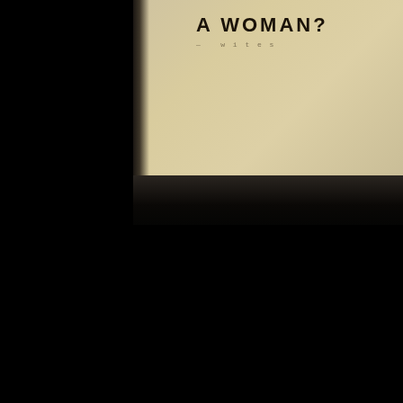[Figure (photo): Photograph of an aged yellowed paper/book cover or page partially visible in the upper right area against a black background. The paper has a warm tan/cream color. A dark shadow band crosses horizontally below the paper area. The bottom two-thirds of the image is entirely black.]
A WOMAN?